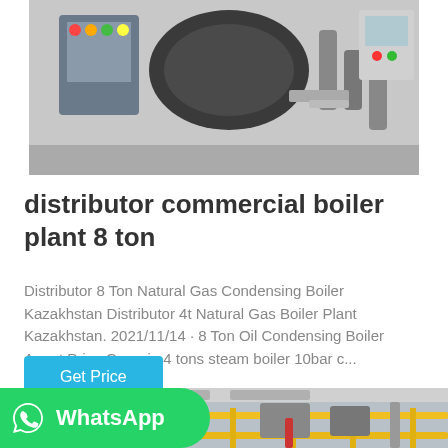[Figure (photo): Industrial boiler plant machinery with control panels and pipes]
distributor commercial boiler plant 8 ton
Distributor 8 Ton Natural Gas Condensing Boiler Kazakhstan Distributor 4t Natural Gas Boiler Plant Kazakhstan. 2021/11/14 · 8 Ton Oil Condensing Boiler Agent Price Georgia 4 tons steam boiler 10bar c...
Get Price
[Figure (logo): WhatsApp logo button with green background]
[Figure (photo): Industrial boiler facility interior with yellow railings and pipes]